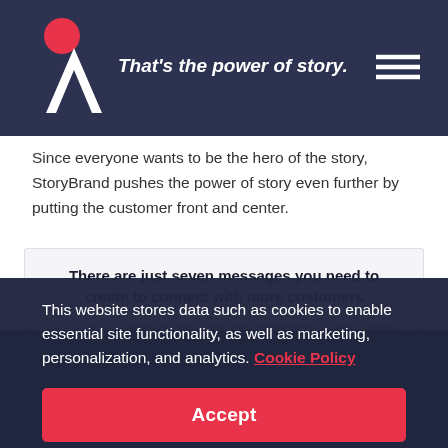That's the power of story.
Since everyone wants to be the hero of the story, StoryBrand pushes the power of story even further by putting the customer front and center.
There are just seven messages you need to create to connect with more customers
It's a fact -- businesses that clarify their message and build a sales funnel are the ones that thrive in the marketplace. At the StoryBrand Marketing Livestream, you'll get both done in 48 hours AND get real time coaching in an online breakout room to make sure that you're getting it right.
This website stores data such as cookies to enable essential site functionality, as well as marketing, personalization, and analytics. Cookie Policy
Accept
Deny